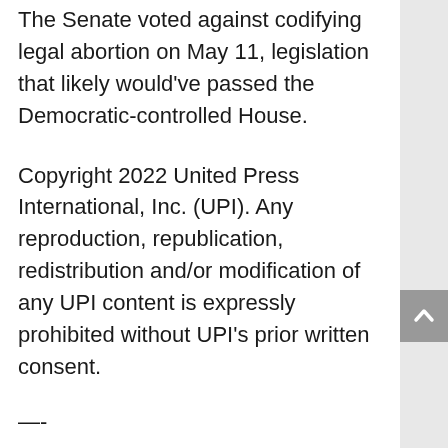The Senate voted against codifying legal abortion on May 11, legislation that likely would've passed the Democratic-controlled House.
Copyright 2022 United Press International, Inc. (UPI). Any reproduction, republication, redistribution and/or modification of any UPI content is expressly prohibited without UPI's prior written consent.
—-
This content is published through a